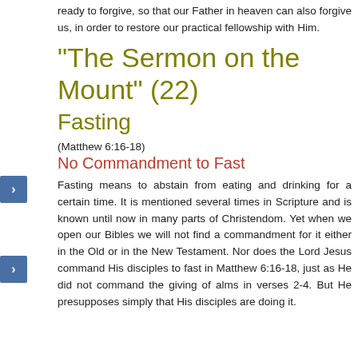ready to forgive, so that our Father in heaven can also forgive us, in order to restore our practical fellowship with Him.
"The Sermon on the Mount" (22)
Fasting
(Matthew 6:16-18)
No Commandment to Fast
Fasting means to abstain from eating and drinking for a certain time. It is mentioned several times in Scripture and is known until now in many parts of Christendom. Yet when we open our Bibles we will not find a commandment for it either in the Old or in the New Testament. Nor does the Lord Jesus command His disciples to fast in Matthew 6:16-18, just as He did not command the giving of alms in verses 2-4. But He presupposes simply that His disciples are doing it.